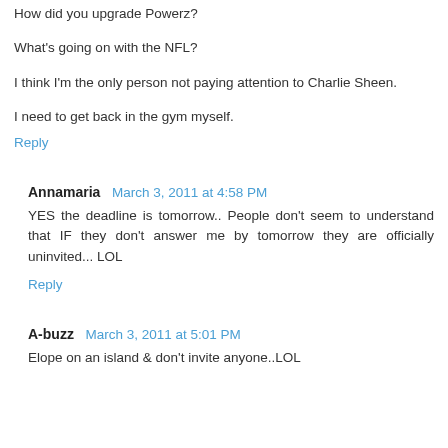How did you upgrade Powerz?
What's going on with the NFL?
I think I'm the only person not paying attention to Charlie Sheen.
I need to get back in the gym myself.
Reply
Annamaria  March 3, 2011 at 4:58 PM
YES the deadline is tomorrow.. People don't seem to understand that IF they don't answer me by tomorrow they are officially uninvited... LOL
Reply
A-buzz  March 3, 2011 at 5:01 PM
Elope on an island & don't invite anyone..LOL